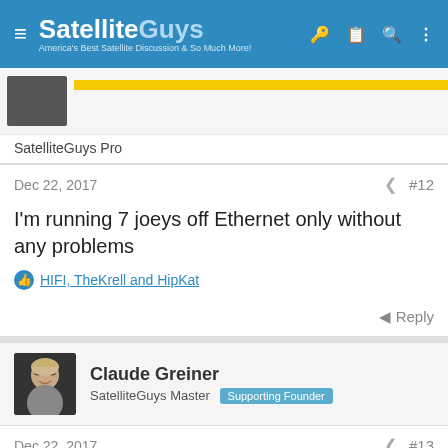SatelliteGuys — America's Best Satellite Discussion & So Much More!
SatelliteGuys Pro
Dec 22, 2017   #12
I'm running 7 joeys off Ethernet only without any problems
HIFI, TheKrell and HipKat
Reply
Claude Greiner
SatelliteGuys Master  Supporting Founder
Dec 22, 2017   #13
charlesrshell said: